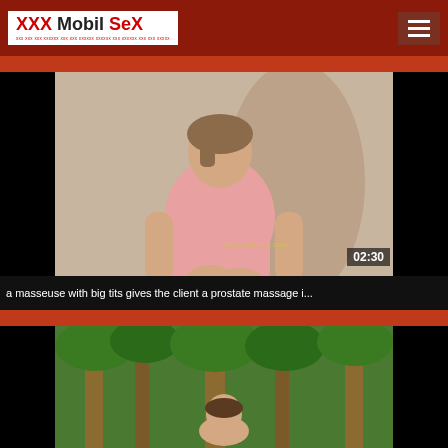[Figure (logo): XXX Mobil SeX website logo with red and black text on white background]
[Figure (screenshot): Video thumbnail showing a woman in a pink shirt sitting, with timestamp 02:30]
a masseuse with big tits gives the client a prostate massage i...
[Figure (screenshot): Second video thumbnail showing outdoor scene with green foliage]